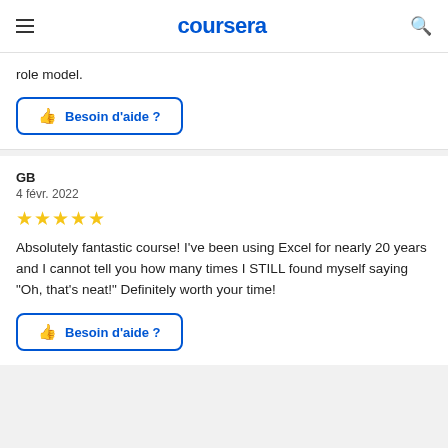coursera
role model.
Besoin d'aide ?
GB
4 févr. 2022
[Figure (other): 5 gold stars rating]
Absolutely fantastic course! I've been using Excel for nearly 20 years and I cannot tell you how many times I STILL found myself saying "Oh, that's neat!" Definitely worth your time!
Besoin d'aide ?